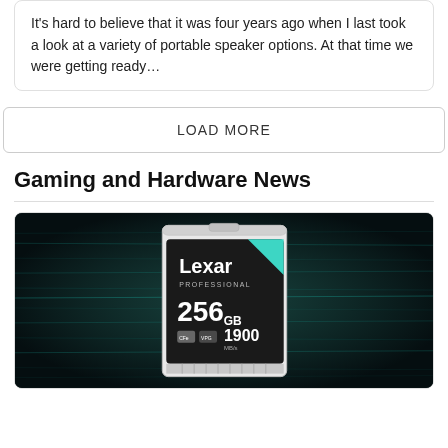It's hard to believe that it was four years ago when I last took a look at a variety of portable speaker options. At that time we were getting ready…
LOAD MORE
Gaming and Hardware News
[Figure (photo): A Lexar Professional CFexpress card 256GB 1900MB/s on a dark teal-streaked background]